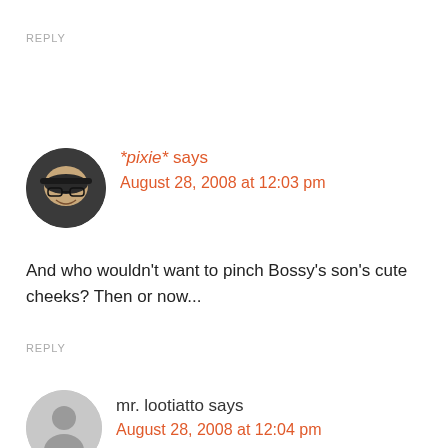REPLY
[Figure (photo): Round avatar photo of *pixie* — person with hat and glasses, smiling]
*pixie* says
August 28, 2008 at 12:03 pm
And who wouldn't want to pinch Bossy's son's cute cheeks? Then or now...
REPLY
[Figure (illustration): Round default avatar silhouette for mr. lootiatto — grey person icon]
mr. lootiatto says
August 28, 2008 at 12:04 pm